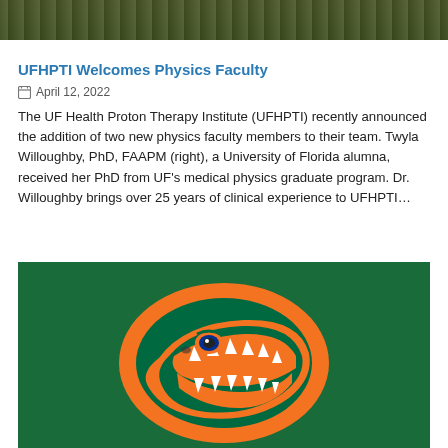[Figure (photo): Top portion of a photo showing grass/field with dark tones, partially cropped]
UFHPTI Welcomes Physics Faculty
April 12, 2022
The UF Health Proton Therapy Institute (UFHPTI) recently announced the addition of two new physics faculty members to their team. Twyla Willoughby, PhD, FAAPM (right), a University of Florida alumna, received her PhD from UF's medical physics graduate program. Dr. Willoughby brings over 25 years of clinical experience to UFHPTI…
[Figure (logo): University of Florida Gators logo — green, orange, and blue alligator head on green background]